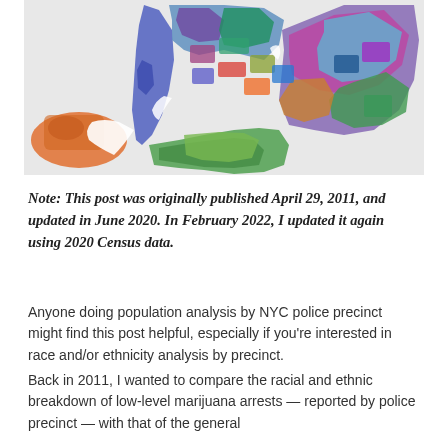[Figure (map): Colorful choropleth map of NYC police precincts, showing different precincts colored in various bright colors including blue, green, purple, teal, orange, red, and brown. The map shows the geographic boundaries of precincts across NYC boroughs.]
Note: This post was originally published April 29, 2011, and updated in June 2020. In February 2022, I updated it again using 2020 Census data.
Anyone doing population analysis by NYC police precinct might find this post helpful, especially if you're interested in race and/or ethnicity analysis by precinct.
Back in 2011, I wanted to compare the racial and ethnic breakdown of low-level marijuana arrests — reported by police precinct — with that of the general